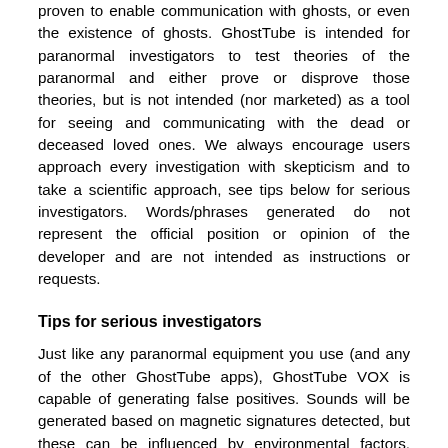proven to enable communication with ghosts, or even the existence of ghosts. GhostTube is intended for paranormal investigators to test theories of the paranormal and either prove or disprove those theories, but is not intended (nor marketed) as a tool for seeing and communicating with the dead or deceased loved ones. We always encourage users approach every investigation with skepticism and to take a scientific approach, see tips below for serious investigators. Words/phrases generated do not represent the official position or opinion of the developer and are not intended as instructions or requests.
Tips for serious investigators
Just like any paranormal equipment you use (and any of the other GhostTube apps), GhostTube VOX is capable of generating false positives. Sounds will be generated based on magnetic signatures detected, but these can be influenced by environmental factors, namely nearby electronics, metals, or natural fluctuations in the Earth's magnetic field. GhostTube VOX users are encouraged to